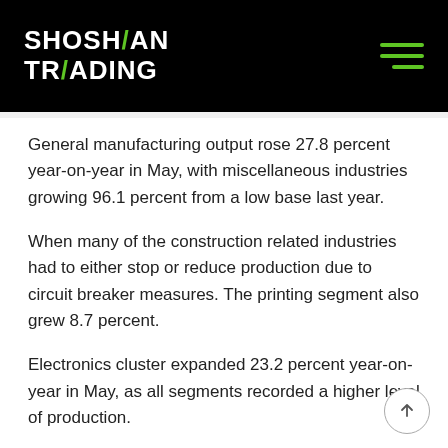SHOSHAN TRADING
General manufacturing output rose 27.8 percent year-on-year in May, with miscellaneous industries growing 96.1 percent from a low base last year.
When many of the construction related industries had to either stop or reduce production due to circuit breaker measures. The printing segment also grew 8.7 percent.
Electronics cluster expanded 23.2 percent year-on-year in May, as all segments recorded a higher level of production.
The semiconductors segment grew 25.5 percent, supported by demand from 5G markets and a low